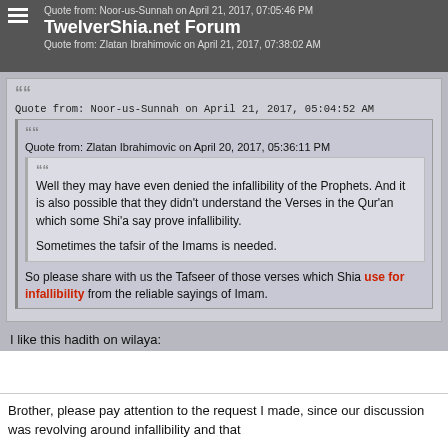Quote from: Noor-us-Sunnah on April 21, 2017, 07:05:46 PM
TwelverShia.net Forum
Quote from: Zlatan Ibrahimovic on April 21, 2017, 07:38:02 AM
Quote from: Noor-us-Sunnah on April 21, 2017, 05:04:52 AM
Quote from: Zlatan Ibrahimovic on April 20, 2017, 05:36:11 PM
Well they may have even denied the infallibility of the Prophets. And it is also possible that they didn't understand the Verses in the Qur'an which some Shi'a say prove infallibility.
Sometimes the tafsir of the Imams is needed.
So please share with us the Tafseer of those verses which Shia use for infallibility from the reliable sayings of Imam.
I like this hadith on wilaya:
Brother, please pay attention to the request I made, since our discussion was revolving around infallibility and that